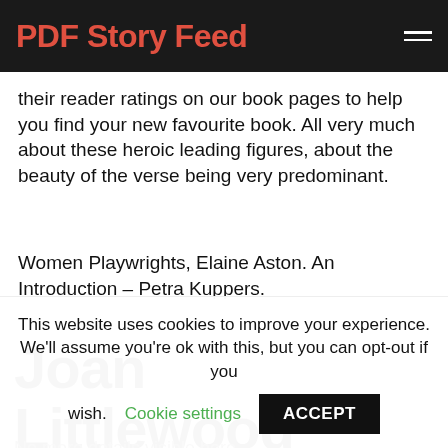PDF Story Feed
their reader ratings on our book pages to help you find your new favourite book. All very much about these heroic leading figures, about the beauty of the verse being very predominant.
Women Playwrights, Elaine Aston. An Introduction – Petra Kuppers.
Joan Littlewood
No more description text visible (partially obscured)
This website uses cookies to improve your experience. We'll assume you're ok with this, but you can opt-out if you wish. Cookie settings ACCEPT